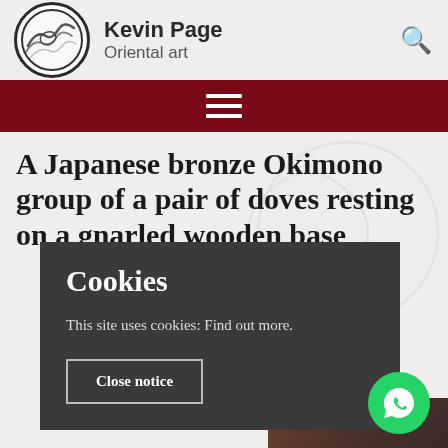[Figure (logo): Kevin Page Oriental Art logo: circular emblem with wave design, brand name and subtitle]
Kevin Page Oriental art
[Figure (infographic): Dark red navigation bar with hamburger menu icon (three horizontal lines)]
A Japanese bronze Okimono group of a pair of doves resting on a gnarled wooden base
[Figure (screenshot): Cookie consent overlay popup with title 'Cookies', body text 'This site uses cookies: Find out more.' and a 'Close notice' button. WhatsApp floating button visible bottom right.]